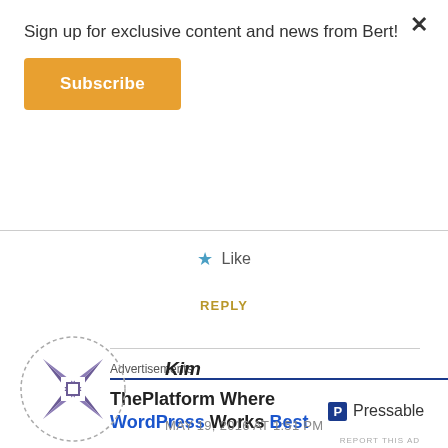Sign up for exclusive content and news from Bert!
Subscribe
Like
REPLY
Advertisements
ThePlatform Where WordPress Works Best
P Pressable
REPORT THIS AD
[Figure (logo): Purple snowflake/windmill style avatar icon for user Kim]
Kim
MAY 19, 2016 AT 1:51 PM